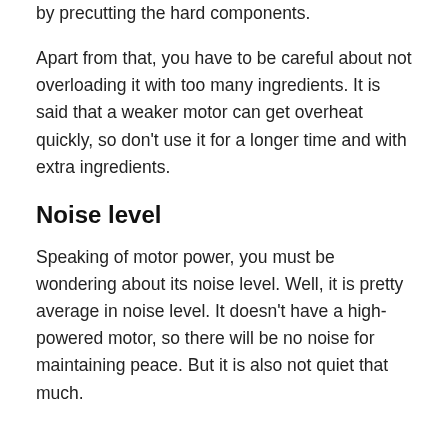by precutting the hard components.
Apart from that, you have to be careful about not overloading it with too many ingredients. It is said that a weaker motor can get overheat quickly, so don’t use it for a longer time and with extra ingredients.
Noise level
Speaking of motor power, you must be wondering about its noise level. Well, it is pretty average in noise level. It doesn’t have a high-powered motor, so there will be no noise for maintaining peace. But it is also not quiet that much.